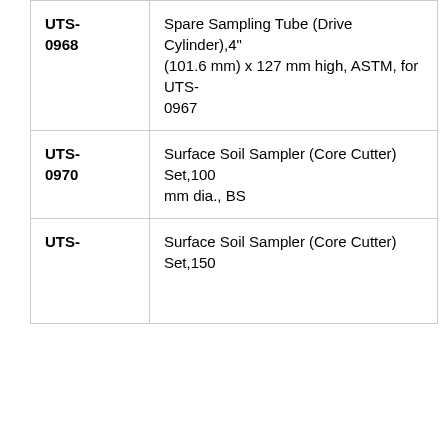| Code | Description |
| --- | --- |
| UTS-0968 | Spare Sampling Tube (Drive Cylinder),4" (101.6 mm) x 127 mm high, ASTM, for UTS-0967 |
| UTS-0970 | Surface Soil Sampler (Core Cutter) Set,100 mm dia., BS |
| UTS- | Surface Soil Sampler (Core Cutter) Set,150 |
We use cookies on our website to give you the most relevant experience by remembering your preferences and repeat visits. By clicking "Accept All", you consent to the use of ALL the cookies. However, you may visit "Cookie Settings" to provide a controlled consent.
...used to taking a the ground eighed. nd UTS-0967 nsists of a